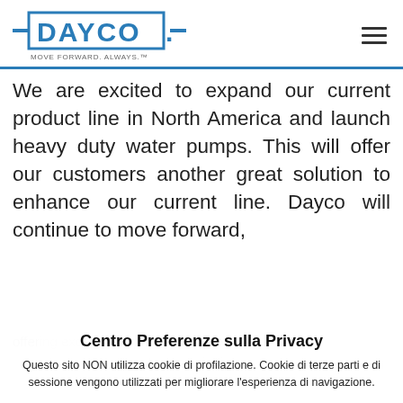DAYCO. MOVE FORWARD. ALWAYS.™
We are excited to expand our current product line in North America and launch heavy duty water pumps. This will offer our customers another great solution to enhance our current line. Dayco will continue to move forward,
offering exceptional product solutions for our customers and Impostazioni Executive Vice President U.S. aftermarket
Centro Preferenze sulla Privacy
Questo sito NON utilizza cookie di profilazione. Cookie di terze parti e di sessione vengono utilizzati per migliorare l'esperienza di navigazione. NON vendiamo dati a terze parti. Più info
Accetta
Impostazioni
Rifiuta
Leader Company... Dayco brands!